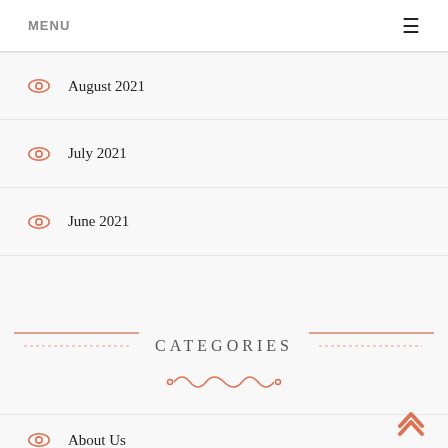MENU
August 2021
July 2021
June 2021
CATEGORIES
About Us
Civil Law